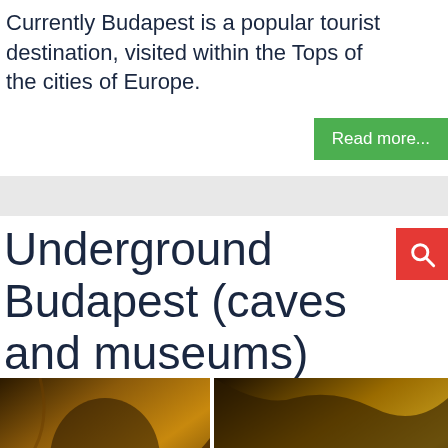Currently Budapest is a popular tourist destination, visited within the Tops of the cities of Europe.
Read more...
Underground Budapest (caves and museums)
[Figure (photo): Four cave/underground Budapest photos arranged in a grid: two large cave interior photos on top (warm amber/golden lit stone cave passages), one outdoor hilltop photo (bottom left, gray/overcast sky with monument on hill), one close-up cave rock texture photo (bottom right, dark brown/orange rock formations)]